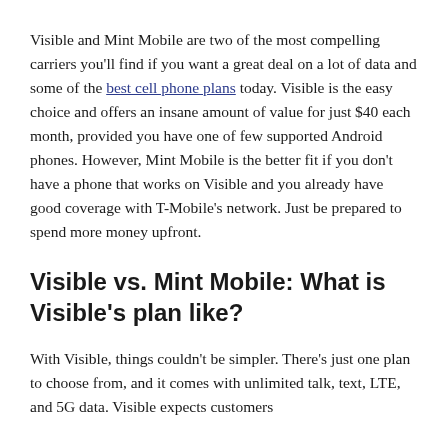Visible and Mint Mobile are two of the most compelling carriers you'll find if you want a great deal on a lot of data and some of the best cell phone plans today. Visible is the easy choice and offers an insane amount of value for just $40 each month, provided you have one of few supported Android phones. However, Mint Mobile is the better fit if you don't have a phone that works on Visible and you already have good coverage with T-Mobile's network. Just be prepared to spend more money upfront.
Visible vs. Mint Mobile: What is Visible's plan like?
With Visible, things couldn't be simpler. There's just one plan to choose from, and it comes with unlimited talk, text, LTE, and 5G data. Visible expects customers